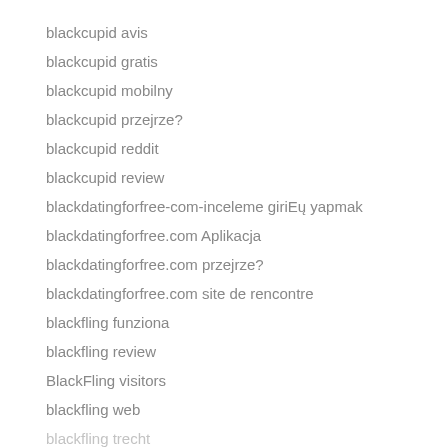blackcupid avis
blackcupid gratis
blackcupid mobilny
blackcupid przejrze?
blackcupid reddit
blackcupid review
blackdatingforfree-com-inceleme giriEų yapmak
blackdatingforfree.com Aplikacja
blackdatingforfree.com przejrze?
blackdatingforfree.com site de rencontre
blackfling funziona
blackfling review
BlackFling visitors
blackfling web
blackfling trecht